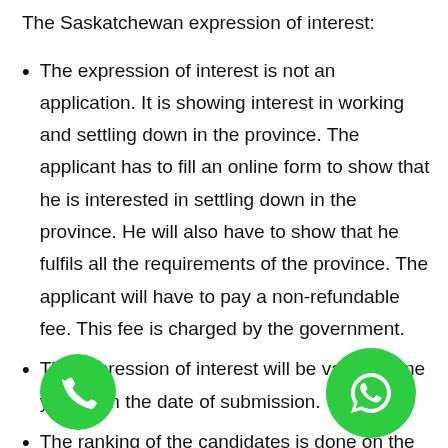The Saskatchewan expression of interest:
The expression of interest is not an application. It is showing interest in working and settling down in the province. The applicant has to fill an online form to show that he is interested in settling down in the province. He will also have to show that he fulfils all the requirements of the province. The applicant will have to pay a non-refundable fee. This fee is charged by the government.
The expression of interest will be valid for one year from the date of submission.
The ranking of the candidates is done on the basis of the information that the candidates